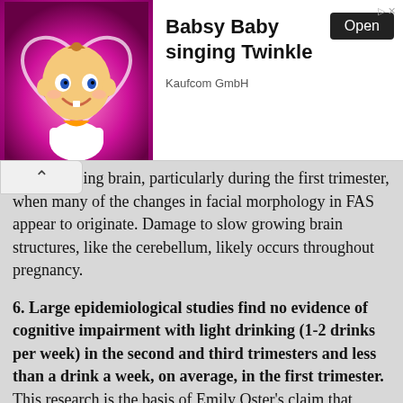[Figure (screenshot): Advertisement banner for 'Babsy Baby singing Twinkle' app by Kaufcom GmbH with animated baby cartoon image and an Open button]
he developing brain, particularly during the first trimester, when many of the changes in facial morphology in FAS appear to originate. Damage to slow growing brain structures, like the cerebellum, likely occurs throughout pregnancy.
6. Large epidemiological studies find no evidence of cognitive impairment with light drinking (1-2 drinks per week) in the second and third trimesters and less than a drink a week, on average, in the first trimester. This research is the basis of Emily Oster's claim that